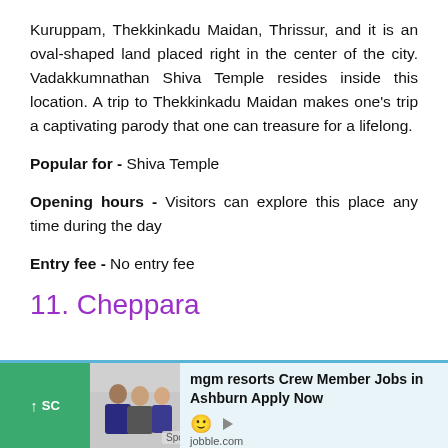Kuruppam, Thekkinkadu Maidan, Thrissur, and it is an oval-shaped land placed right in the center of the city. Vadakkumnathan Shiva Temple resides inside this location. A trip to Thekkinkadu Maidan makes one's trip a captivating parody that one can treasure for a lifelong.
Popular for - Shiva Temple
Opening hours - Visitors can explore this place any time during the day
Entry fee - No entry fee
11. Cheppara
[Figure (other): Advertisement banner: mgm resorts Crew Member Jobs in Ashburn Apply Now, jobble.com. Sponsored. Green scroll-to-top button on left. Photo of people in business attire.]